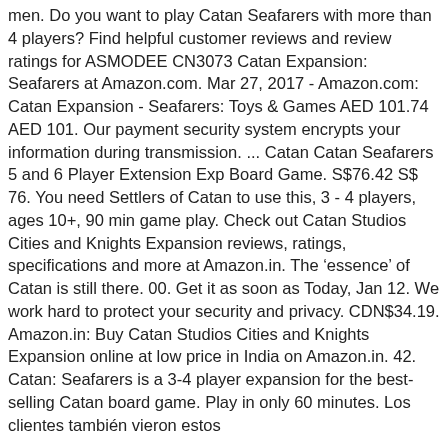men. Do you want to play Catan Seafarers with more than 4 players? Find helpful customer reviews and review ratings for ASMODEE CN3073 Catan Expansion: Seafarers at Amazon.com. Mar 27, 2017 - Amazon.com: Catan Expansion - Seafarers: Toys & Games AED 101.74 AED 101. Our payment security system encrypts your information during transmission. ... Catan Catan Seafarers 5 and 6 Player Extension Exp Board Game. S$76.42 S$ 76. You need Settlers of Catan to use this, 3 - 4 players, ages 10+, 90 min game play. Check out Catan Studios Cities and Knights Expansion reviews, ratings, specifications and more at Amazon.in. The ‘essence’ of Catan is still there. 00. Get it as soon as Today, Jan 12. We work hard to protect your security and privacy. CDN$34.19. Amazon.in: Buy Catan Studios Cities and Knights Expansion online at low price in India on Amazon.in. 42. Catan: Seafarers is a 3-4 player expansion for the best-selling Catan board game. Play in only 60 minutes. Los clientes también vieron estos